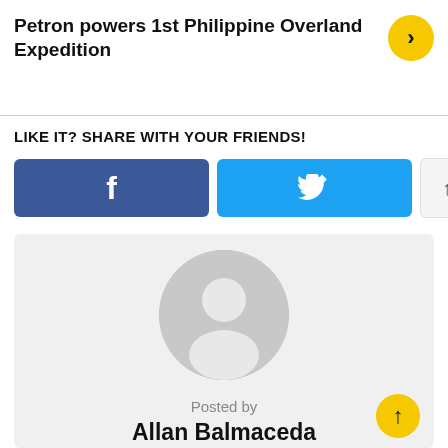Petron powers 1st Philippine Overland Expedition
LIKE IT? SHARE WITH YOUR FRIENDS!
[Figure (screenshot): Social sharing buttons: Facebook (blue), Twitter (cyan), and up/down arrow buttons]
[Figure (photo): Author card with default gray avatar silhouette, 'Posted by' label, and author name Allan Balmaceda]